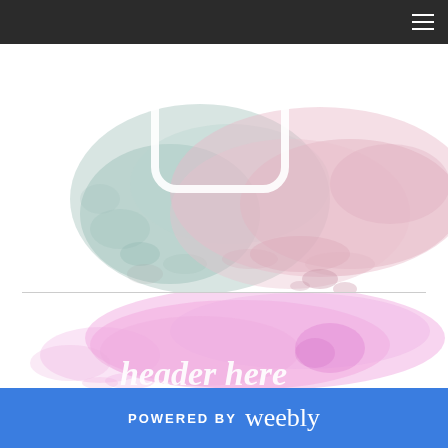[Figure (screenshot): Dark navigation bar with hamburger menu icon on the right side]
[Figure (illustration): Watercolor splash artwork in pink, mauve, and teal tones with a rounded square icon overlay in the upper section of the page]
[Figure (illustration): Watercolor splash artwork in pink/magenta tones with white script text partially visible at the bottom]
POWERED BY weebly